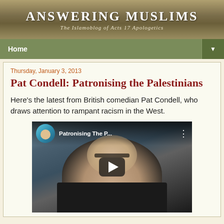Answering Muslims — The Islamoblog of Acts 17 Apologetics
Pat Condell: Patronising the Palestinians
Thursday, January 3, 2013
Here's the latest from British comedian Pat Condell, who draws attention to rampant racism in the West.
[Figure (screenshot): YouTube video thumbnail titled 'Patronising The P...' showing a bald man in a dark shirt with a play button overlay, and a small circular avatar in the top left corner.]